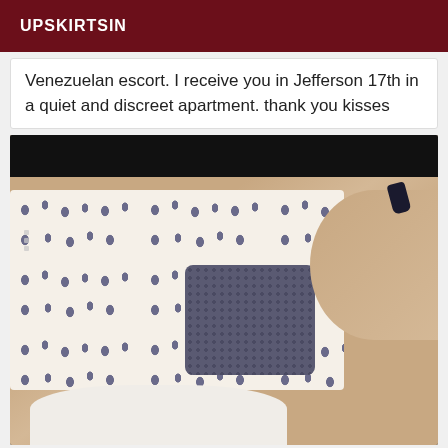UPSKIRTSIN
Venezuelan escort. I receive you in Jefferson 17th in a quiet and discreet apartment. thank you kisses
[Figure (photo): Close-up photo showing legs and a patterned fabric/pillow with a dark textured towel or sponge, taken in what appears to be a bedroom setting.]